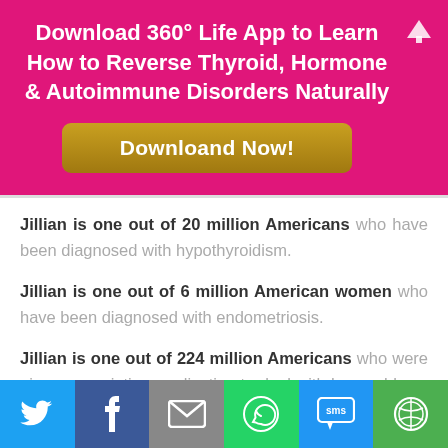Download 360° Life App to Learn How to Reverse Thyroid, Hormone & Autoimmune Disorders Naturally
[Figure (other): Download Now button (gold/yellow rounded rectangle)]
Jillian is one out of 20 million Americans who have been diagnosed with hypothyroidism.
Jillian is one out of 6 million American women who have been diagnosed with endometriosis.
Jillian is one out of 224 million Americans who were given prescription medication to deal with her problems without receiving any
[Figure (infographic): Social sharing bar with Twitter, Facebook, Email, WhatsApp, SMS, and More buttons]